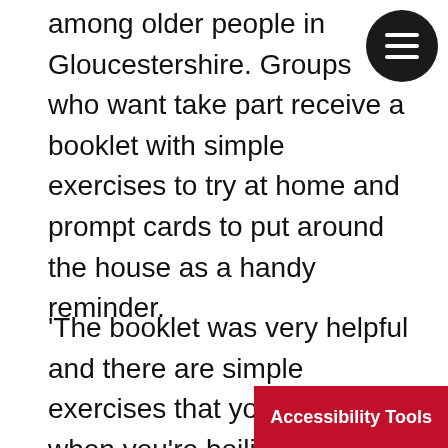among older people in Gloucestershire. Groups who want take part receive a booklet with simple exercises to try at home and prompt cards to put around the house as a handy reminder.
'The booklet was very helpful and there are simple exercises that you can do when you're boiling the kettle or standing at the kitchen sink. The cards are handy to keep